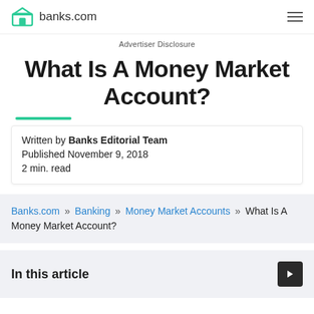banks.com
Advertiser Disclosure
What Is A Money Market Account?
Written by Banks Editorial Team
Published November 9, 2018
2 min. read
Banks.com » Banking » Money Market Accounts » What Is A Money Market Account?
In this article